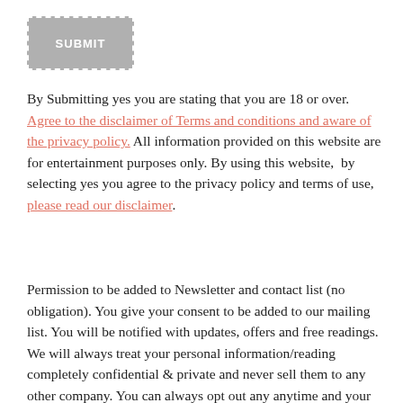[Figure (other): A grey button with dashed white border labeled SUBMIT in white bold text]
By Submitting yes you are stating that you are 18 or over. Agree to the disclaimer of Terms and conditions and aware of the privacy policy. All information provided on this website are for entertainment purposes only. By using this website,  by selecting yes you agree to the privacy policy and terms of use, please read our disclaimer.
Permission to be added to Newsletter and contact list (no obligation). You give your consent to be added to our mailing list. You will be notified with updates, offers and free readings. We will always treat your personal information/reading completely confidential & private and never sell them to any other company. You can always opt out any anytime and your information will be